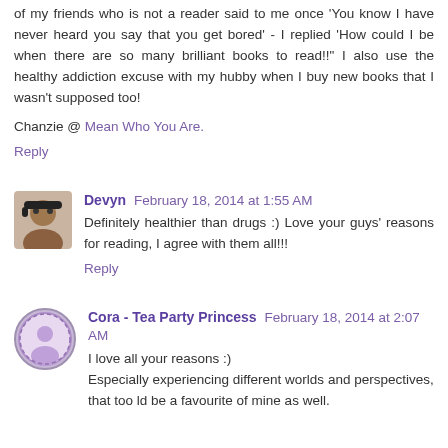of my friends who is not a reader said to me once 'You know I have never heard you say that you get bored' - I replied 'How could I be when there are so many brilliant books to read!!' I also use the healthy addiction excuse with my hubby when I buy new books that I wasn't supposed too!
Chanzie @ Mean Who You Are.
Reply
Devyn  February 18, 2014 at 1:55 AM
Definitely healthier than drugs :) Love your guys' reasons for reading, I agree with them all!!!
Reply
Cora - Tea Party Princess  February 18, 2014 at 2:07 AM
I love all your reasons :) Especially experiencing different worlds and perspectives, that would be a favourite of mine as well.